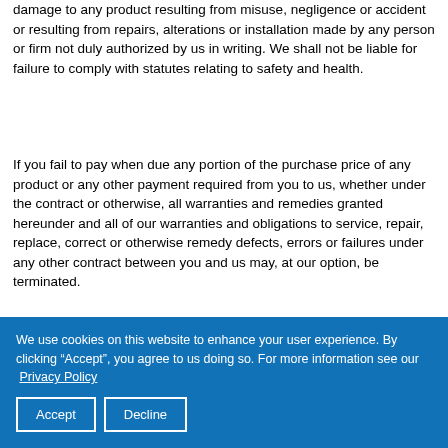damage to any product resulting from misuse, negligence or accident or resulting from repairs, alterations or installation made by any person or firm not duly authorized by us in writing. We shall not be liable for failure to comply with statutes relating to safety and health.
If you fail to pay when due any portion of the purchase price of any product or any other payment required from you to us, whether under the contract or otherwise, all warranties and remedies granted hereunder and all of our warranties and obligations to service, repair, replace, correct or otherwise remedy defects, errors or failures under any other contract between you and us may, at our option, be terminated.
THE WARRANTIES IN THIS PARAGRAPH ARE THE ONLY WARRANTIES GIVEN BY US WITH RESPECT TO THE PRODUCTS PROVIDED WITH THE
We use cookies on this website to enhance your user experience. By clicking “Accept”, you agree to us doing so. For more information see our Privacy Policy
Accept   Decline